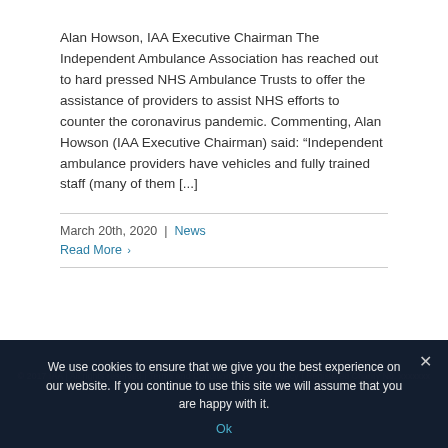Alan Howson, IAA Executive Chairman The Independent Ambulance Association has reached out to hard pressed NHS Ambulance Trusts to offer the assistance of providers to assist NHS efforts to counter the coronavirus pandemic. Commenting, Alan Howson (IAA Executive Chairman) said: “Independent ambulance providers have vehicles and fully trained staff (many of them [...]
March 20th, 2020 | News
Read More ›
© 2017 IAA | All rights reserved | Terms and Conditions | Privacy Policy | Registered Charity No. xxxxxxx
We use cookies to ensure that we give you the best experience on our website. If you continue to use this site we will assume that you are happy with it.
Ok